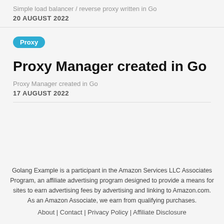Simple load balancer / reverse proxy written in Go
20 AUGUST 2022
Proxy
Proxy Manager created in Go
Proxy Manager created in Go
17 AUGUST 2022
Golang Example is a participant in the Amazon Services LLC Associates Program, an affiliate advertising program designed to provide a means for sites to earn advertising fees by advertising and linking to Amazon.com. As an Amazon Associate, we earn from qualifying purchases.
About | Contact | Privacy Policy | Affiliate Disclosure